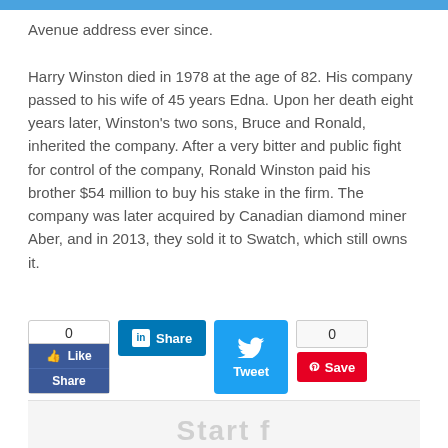Avenue address ever since.

Harry Winston died in 1978 at the age of 82. His company passed to his wife of 45 years Edna. Upon her death eight years later, Winston's two sons, Bruce and Ronald, inherited the company. After a very bitter and public fight for control of the company, Ronald Winston paid his brother $54 million to buy his stake in the firm. The company was later acquired by Canadian diamond miner Aber, and in 2013, they sold it to Swatch, which still owns it.
[Figure (infographic): Social sharing buttons: Facebook Like/Share (count 0), LinkedIn Share button, Twitter Tweet button, Pinterest Save button (count 0)]